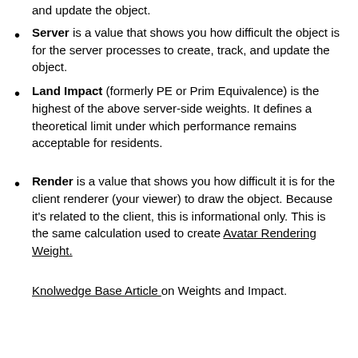and update the object.
Server is a value that shows you how difficult the object is for the server processes to create, track, and update the object.
Land Impact (formerly PE or Prim Equivalence) is the highest of the above server-side weights. It defines a theoretical limit under which performance remains acceptable for residents.
Render is a value that shows you how difficult it is for the client renderer (your viewer) to draw the object. Because it's related to the client, this is informational only. This is the same calculation used to create Avatar Rendering Weight.
Knolwedge Base Article on Weights and Impact.